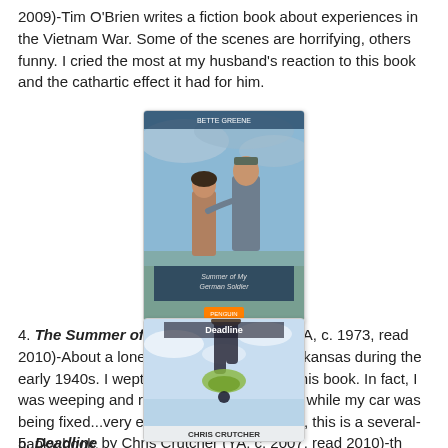2009)-Tim O'Brien writes a fiction book about experiences in the Vietnam War. Some of the scenes are horrifying, others funny.  I cried the most at my husband's reaction to this book and the cathartic effect it had for him.
[Figure (photo): Book cover of a young adult novel showing a teenage girl and a soldier embracing, with a stormy sky background. Published by Penguin.]
4.  The Summer of My German Soldier (YA, c. 1973, read 2010)-About a lonely Jewish girl living in Arkansas during the early 1940s.  I wept for all the injustices in this book.  In fact, I was weeping and reading it at a dealership while my car was being fixed...very embarrassing.  I warn you, this is a several-hanky book.
[Figure (photo): Book cover of 'Deadline' by Chris Crutcher showing legs of a person diving or falling downward into a sky background.]
5.  Deadline by Chris Crutcher (YA, c. 2007, read 2010)-th...